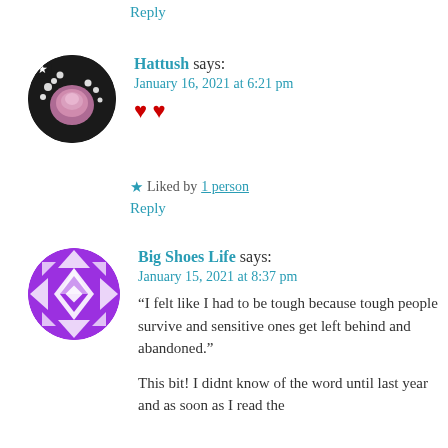Reply
[Figure (photo): Circular avatar photo showing a pink rose with white baby's breath flowers on a dark background, with a star badge overlay]
Hattush says:
January 16, 2021 at 6:21 pm
❤ ❤
★ Liked by 1 person
Reply
[Figure (illustration): Circular avatar with a purple and white geometric quilt/diamond pattern design]
Big Shoes Life says:
January 15, 2021 at 8:37 pm
“I felt like I had to be tough because tough people survive and sensitive ones get left behind and abandoned.”

This bit! I didnt know of the word until last year and as soon as I read the